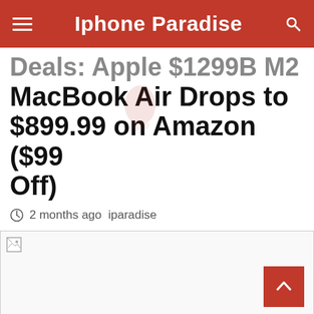Iphone Paradise
Deals: Apple $1299B M2 MacBook Air Drops to $899.99 on Amazon ($99 Off)
2 months ago  iparadise
[Figure (photo): Broken image placeholder for article image]